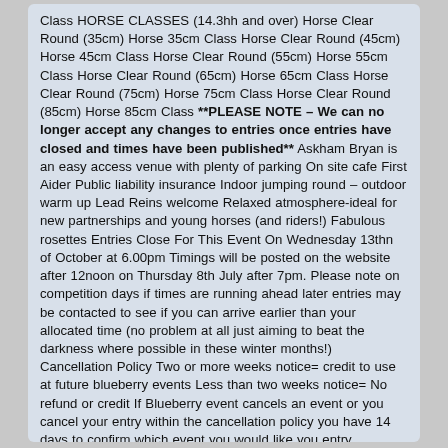Class HORSE CLASSES (14.3hh and over) Horse Clear Round (35cm) Horse 35cm Class Horse Clear Round (45cm) Horse 45cm Class Horse Clear Round (55cm) Horse 55cm Class Horse Clear Round (65cm) Horse 65cm Class Horse Clear Round (75cm) Horse 75cm Class Horse Clear Round (85cm) Horse 85cm Class **PLEASE NOTE – We can no longer accept any changes to entries once entries have closed and times have been published** Askham Bryan is an easy access venue with plenty of parking On site cafe First Aider Public liability insurance Indoor jumping round – outdoor warm up Lead Reins welcome Relaxed atmosphere-ideal for new partnerships and young horses (and riders!) Fabulous rosettes Entries Close For This Event On Wednesday 13thn of October at 6.00pm Timings will be posted on the website after 12noon on Thursday 8th July after 7pm. Please note on competition days if times are running ahead later entries may be contacted to see if you can arrive earlier than your allocated time (no problem at all just aiming to beat the darkness where possible in these winter months!) Cancellation Policy Two or more weeks notice= credit to use at future blueberry events Less than two weeks notice= No refund or credit If Blueberry event cancels an event or you cancel your entry within the cancellation policy you have 14 days to confirm which event you would like you entry transferring to or to ask for a refund. After 14 days your entry will become invalid and no refund will be given.